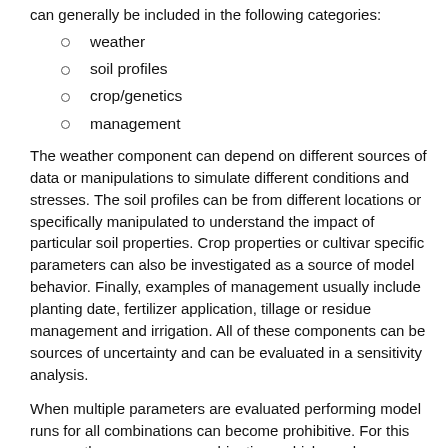can generally be included in the following categories:
weather
soil profiles
crop/genetics
management
The weather component can depend on different sources of data or manipulations to simulate different conditions and stresses. The soil profiles can be from different locations or specifically manipulated to understand the impact of particular soil properties. Crop properties or cultivar specific parameters can also be investigated as a source of model behavior. Finally, examples of management usually include planting date, fertilizer application, tillage or residue management and irrigation. All of these components can be sources of uncertainty and can be evaluated in a sensitivity analysis.
When multiple parameters are evaluated performing model runs for all combinations can become prohibitive. For this reason, there are some combinations which can be more efficient and provide nearly the same amount of information. The suggestion here is to build complexity in the sensitivity analysis task gradually. For example, first choose one parameter and select 5-10 reasonable values, run the model and evaluate the model output. This is a one parameter at a